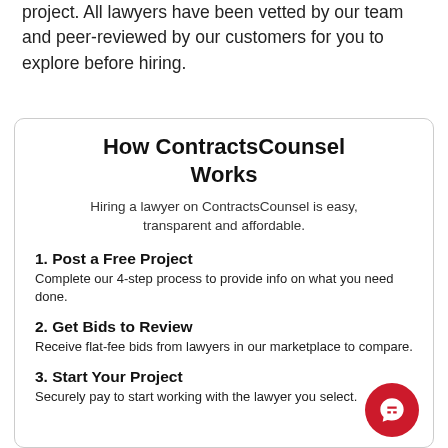project. All lawyers have been vetted by our team and peer-reviewed by our customers for you to explore before hiring.
How ContractsCounsel Works
Hiring a lawyer on ContractsCounsel is easy, transparent and affordable.
1. Post a Free Project
Complete our 4-step process to provide info on what you need done.
2. Get Bids to Review
Receive flat-fee bids from lawyers in our marketplace to compare.
3. Start Your Project
Securely pay to start working with the lawyer you select.